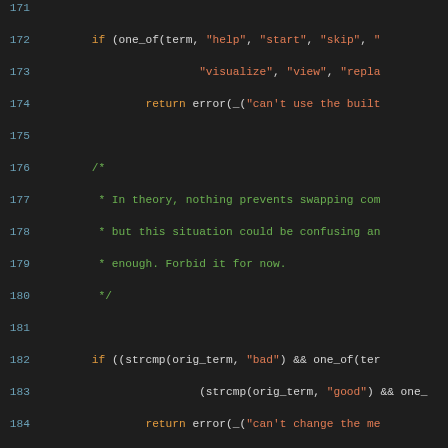Source code snippet, lines 171-200, C programming language